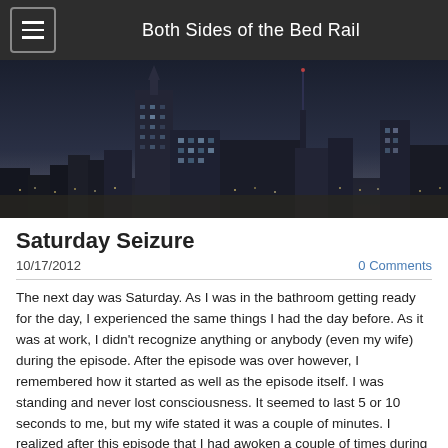Both Sides of the Bed Rail
[Figure (photo): Black and white nighttime cityscape with skyscrapers and city lights]
Saturday Seizure
10/17/2012
0 Comments
The next day was Saturday.  As I was in the bathroom getting ready for the day, I experienced the same things I had the day before.  As it was at work, I didn't recognize anything or anybody (even my wife) during the episode.  After the episode was over however, I remembered how it started as well as the episode itself.  I was standing and never lost consciousness.  It seemed to last 5 or 10 seconds to me, but my wife stated it was a couple of minutes.  I realized after this episode that I had awoken a couple of times during the night, a few days